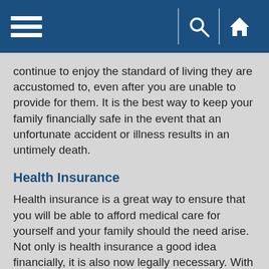Navigation bar with hamburger menu, search icon, and home icon
continue to enjoy the standard of living they are accustomed to, even after you are unable to provide for them. It is the best way to keep your family financially safe in the event that an unfortunate accident or illness results in an untimely death.
Health Insurance
Health insurance is a great way to ensure that you will be able to afford medical care for yourself and your family should the need arise. Not only is health insurance a good idea financially, it is also now legally necessary. With the implementation of the Affordable Care Act, most people in the United States are legally required to have some type of health insurance, either through an employer plan, individual policy or government health insurance system